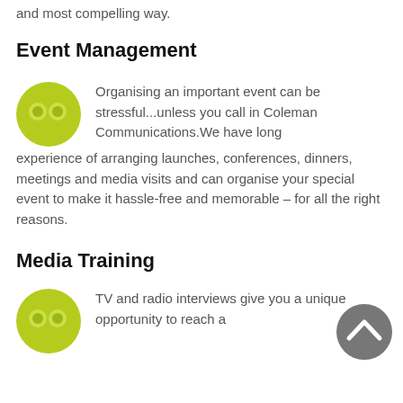and most compelling way.
Event Management
Organising an important event can be stressful...unless you call in Coleman Communications.We have long experience of arranging launches, conferences, dinners, meetings and media visits and can organise your special event to make it hassle-free and memorable – for all the right reasons.
Media Training
TV and radio interviews give you a unique opportunity to reach a